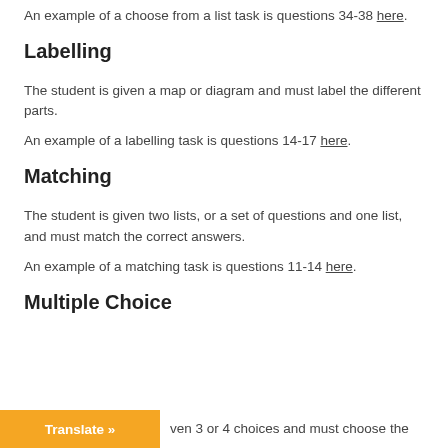An example of a choose from a list task is questions 34-38 here.
Labelling
The student is given a map or diagram and must label the different parts.
An example of a labelling task is questions 14-17 here.
Matching
The student is given two lists, or a set of questions and one list, and must match the correct answers.
An example of a matching task is questions 11-14 here.
Multiple Choice
ven 3 or 4 choices and must choose the